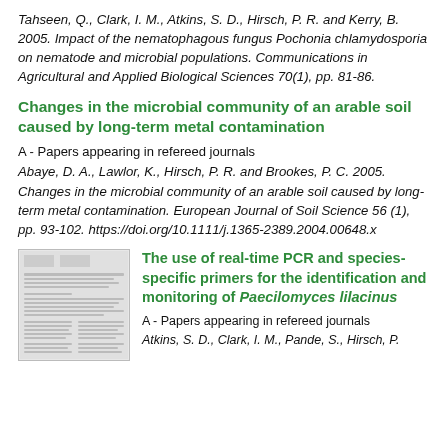Tahseen, Q., Clark, I. M., Atkins, S. D., Hirsch, P. R. and Kerry, B. 2005. Impact of the nematophagous fungus Pochonia chlamydosporia on nematode and microbial populations. Communications in Agricultural and Applied Biological Sciences 70(1), pp. 81-86.
Changes in the microbial community of an arable soil caused by long-term metal contamination
A - Papers appearing in refereed journals
Abaye, D. A., Lawlor, K., Hirsch, P. R. and Brookes, P. C. 2005. Changes in the microbial community of an arable soil caused by long-term metal contamination. European Journal of Soil Science 56 (1), pp. 93-102. https://doi.org/10.1111/j.1365-2389.2004.00648.x
[Figure (other): Thumbnail image of a journal article page]
The use of real-time PCR and species-specific primers for the identification and monitoring of Paecilomyces lilacinus
A - Papers appearing in refereed journals
Atkins, S. D., Clark, I. M., Pande, S., Hirsch, P.